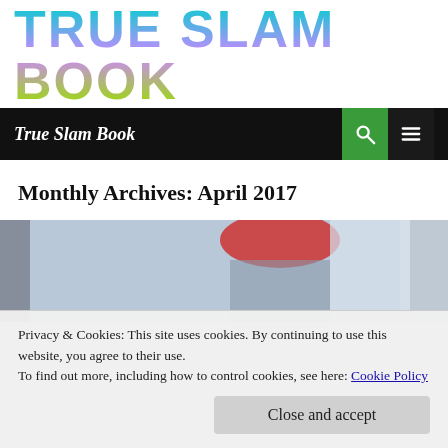TRUE SLAM BOOK
True Slam Book
Monthly Archives: April 2017
[Figure (photo): A photo showing a person with red hair, partially visible, blurred background]
Privacy & Cookies: This site uses cookies. By continuing to use this website, you agree to their use.
To find out more, including how to control cookies, see here: Cookie Policy
Close and accept